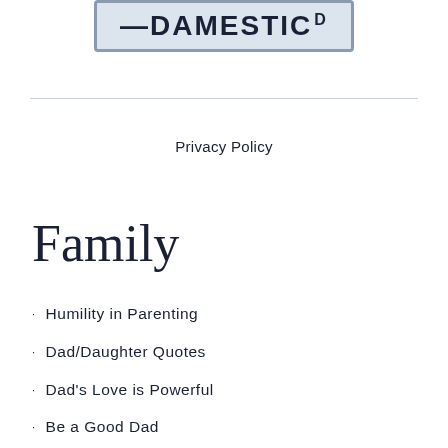[Figure (logo): Website logo with stylized text in a bordered box with a 'D' superscript]
Privacy Policy
Family
Humility in Parenting
Dad/Daughter Quotes
Dad's Love is Powerful
Be a Good Dad